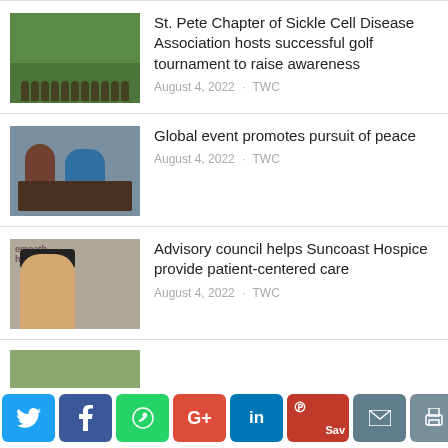[Figure (photo): Group of people on a golf course lawn]
St. Pete Chapter of Sickle Cell Disease Association hosts successful golf tournament to raise awareness
August 4, 2022 · TWC
[Figure (photo): Two people sitting at a desk in an office setting]
Global event promotes pursuit of peace
August 4, 2022 · TWC
[Figure (photo): Man wearing a cap in front of Empath Health banner]
Advisory council helps Suncoast Hospice provide patient-centered care
August 4, 2022 · TWC
[Figure (photo): Partial thumbnail of another news article]
Social sharing bar: Twitter, Facebook, WhatsApp, Google+, LinkedIn, Pinterest Save, Email, Print